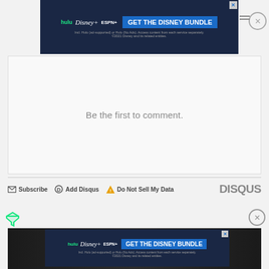[Figure (screenshot): Disney Bundle advertisement banner with Hulu, Disney+, ESPN+ logos and 'GET THE DISNEY BUNDLE' call to action on dark blue background]
Be the first to comment.
Subscribe  Add Disqus  Do Not Sell My Data  DISQUS
[Figure (logo): Green filter/funnel icon (ad filter tool)]
[Figure (screenshot): Second Disney Bundle advertisement banner, smaller, overlaid on dark background restaurant/bar scene photo]